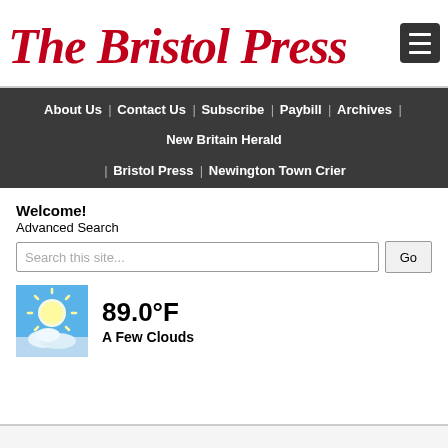The Bristol Press
About Us | Contact Us | Subscribe | Paybill | Archives | New Britain Herald | Bristol Press | Newington Town Crier Facebook Twitter
Welcome!
Advanced Search
Search this site...
[Figure (photo): Weather icon showing bright sun with a few clouds, blue sky background]
89.0°F
A Few Clouds